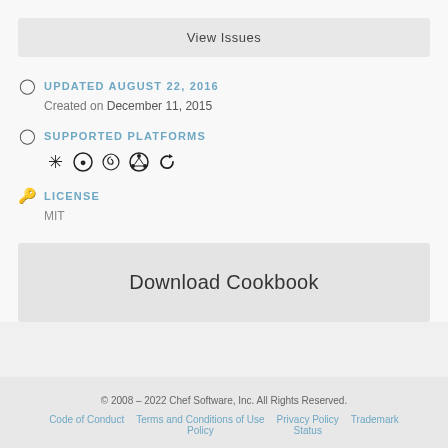View Issues
UPDATED AUGUST 22, 2016
Created on December 11, 2015
SUPPORTED PLATFORMS
[Figure (other): Platform icons: snowflake/fedora, fedora logo, debian swirl, ubuntu circle, refresh/loop arrow]
LICENSE
MIT
Download Cookbook
© 2008 – 2022 Chef Software, Inc. All Rights Reserved. Code of Conduct  Terms and Conditions of Use Policy  Privacy Policy  Status  Trademark